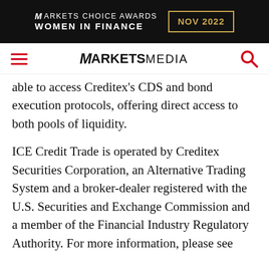[Figure (logo): Markets Choice Awards Women in Finance NOV 2022 banner advertisement with gold border around date]
MARKETS MEDIA navigation bar with hamburger menu, logo, and search icon
able to access Creditex's CDS and bond execution protocols, offering direct access to both pools of liquidity.
ICE Credit Trade is operated by Creditex Securities Corporation, an Alternative Trading System and a broker-dealer registered with the U.S. Securities and Exchange Commission and a member of the Financial Industry Regulatory Authority. For more information, please see